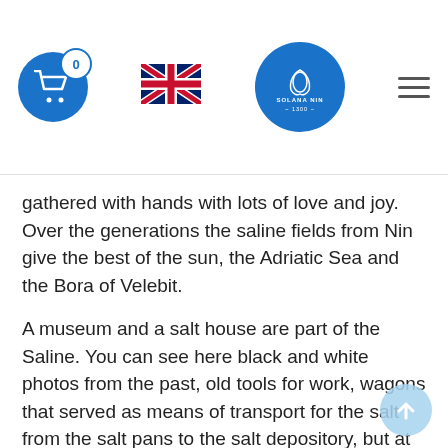Header with cart icon (0), UK flag, Solana Nin logo, hamburger menu
gathered with hands with lots of love and joy. Over the generations the saline fields from Nin give the best of the sun, the Adriatic Sea and the Bora of Velebit.
A museum and a salt house are part of the Saline. You can see here black and white photos from the past, old tools for work, wagons that served as means of transport for the salt from the salt pans to the salt depository, but at the same time you can play an interactive game, see a model of the unique nature reserve and a documentary film, which is played in Croatian, German and English.
Immerse into the fascinating museum of the only ecological saline on the Adriatic. It will inspire you with words, images and acts, but you will also learn...